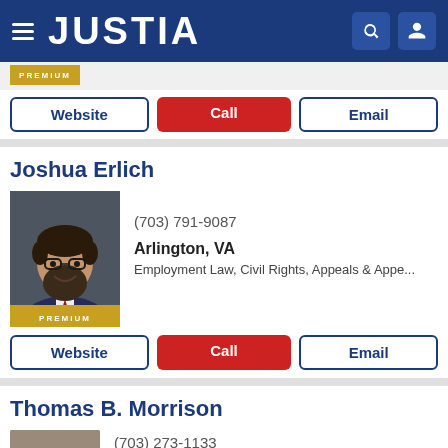JUSTIA
[Figure (screenshot): Premium badge bar at top]
Website | Call | Email (buttons)
Joshua Erlich
[Figure (photo): Professional headshot of Joshua Erlich, man with glasses and beard wearing suit, with PREMIUM badge]
(703) 791-9087
Arlington, VA
Employment Law, Civil Rights, Appeals & Appe...
Website | Call | Email (buttons)
Thomas B. Morrison
[Figure (photo): Professional headshot of Thomas B. Morrison]
(703) 273-1133
Fairfax, VA